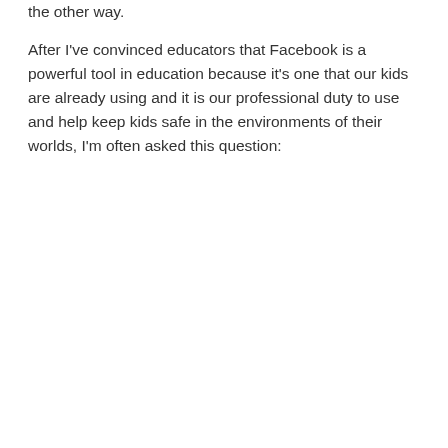the other way.
After I've convinced educators that Facebook is a powerful tool in education because it's one that our kids are already using and it is our professional duty to use and help keep kids safe in the environments of their worlds, I'm often asked this question:
[Figure (screenshot): Advertisement banner for Tech & Learning Awards of Excellence 2022 Back to School with text 'Nominations have officially opened' on a dark blue background with hexagonal pattern and a blue plus icon on the left.]